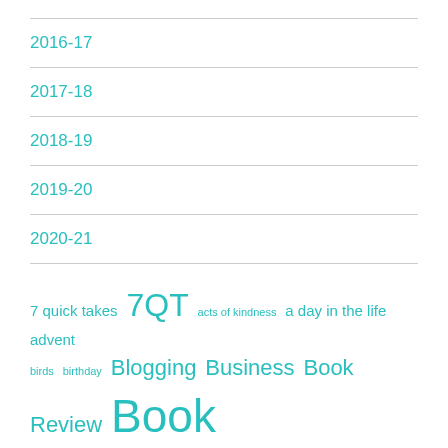2016-17
2017-18
2018-19
2019-20
2020-21
7 quick takes 7QT acts of kindness a day in the life advent birds birthday Blogging Business Book Review Book Reviews books camping with children Charlotte